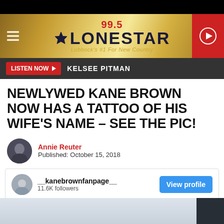[Figure (screenshot): 99.5 Lonestar radio station banner with golden background, hamburger menu, star logo, and red play button]
LISTEN NOW  KELSEE PITMAN
NEWLYWED KANE BROWN NOW HAS A TATTOO OF HIS WIFE'S NAME – SEE THE PIC!
Annie Reuter
Published: October 15, 2018
__kanebrownfanpage__
11.6K followers
View profile